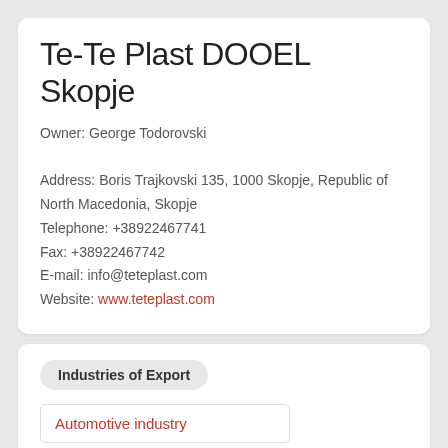Te-Te Plast DOOEL Skopje
Owner: George Todorovski
Address: Boris Trajkovski 135, 1000 Skopje, Republic of North Macedonia, Skopje
Telephone: +38922467741
Fax: +38922467742
E-mail: info@teteplast.com
Website: www.teteplast.com
Industries of Export
Automotive industry
Chemical and pharmaceuticals